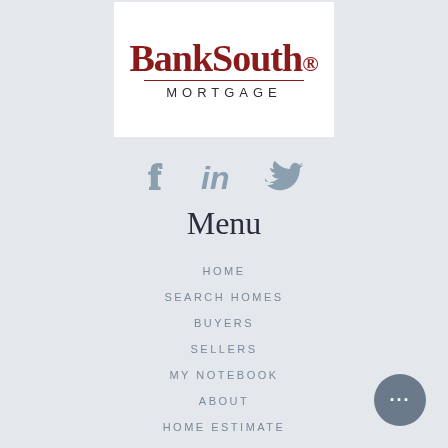[Figure (logo): BankSouth Mortgage logo — 'BankSouth' in large dark red serif font with registered trademark symbol, a horizontal divider line, and 'MORTGAGE' in spaced sans-serif below, all on a white background]
[Figure (infographic): Three social media icons: Facebook (f), LinkedIn (in), Twitter (bird) in muted blue-grey color]
Menu
HOME
SEARCH HOMES
BUYERS
SELLERS
MY NOTEBOOK
ABOUT
HOME ESTIMATE
SELL YOUR HOME